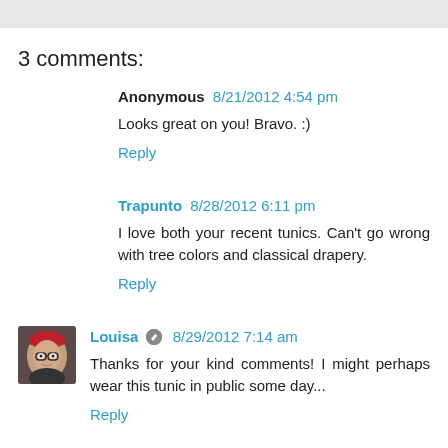3 comments:
Anonymous 8/21/2012 4:54 pm
Looks great on you! Bravo. :)
Reply
Trapunto 8/28/2012 6:11 pm
I love both your recent tunics. Can't go wrong with tree colors and classical drapery.
Reply
Louisa 8/29/2012 7:14 am
Thanks for your kind comments! I might perhaps wear this tunic in public some day...
Reply